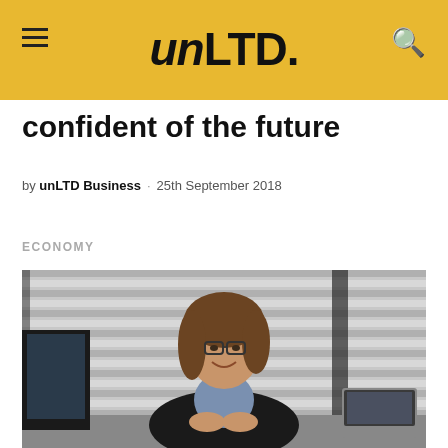unLTD.
confident of the future
by unLTD Business · 25th September 2018
ECONOMY
[Figure (photo): A woman with glasses and long brown hair, wearing a dark blazer and light blue shirt, smiling while seated at a desk with laptops and monitors in an office setting with window blinds in the background.]